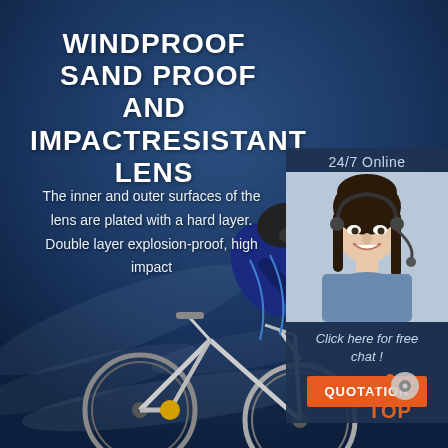[Figure (photo): Cyclist in full gear riding a mountain bike against a dramatic blue stormy sky background. The page acts as a product advertisement for windproof, sand proof and impact resistant lens.]
WINDPROOF  SAND PROOF AND IMPACTRESISTANT LENS
The inner and outer surfaces of the lens are plated with a hard layer. Double layer explosion-proof, high impact
24/7 Online
[Figure (photo): Customer service agent woman with headset smiling]
Click here for free chat !
QUOTATION
[Figure (logo): TOP logo with orange dots arranged in circle above the word TOP]